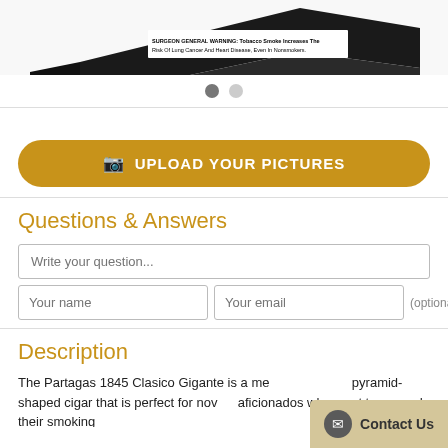[Figure (photo): Partagas cigar box with Surgeon General warning label visible: 'SURGEON GENERAL WARNING: Tobacco Smoke Increases The Risk Of Lung Cancer And Heart Disease, Even In Nonsmokers.']
UPLOAD YOUR PICTURES
Questions & Answers
Write your question...
Your name
Your email
(optional)
ASK
Description
The Partagas 1845 Clasico Gigante is a medium strength pyramid-shaped cigar that is perfect for novice aficionados who want to expand their smoking
Contact Us